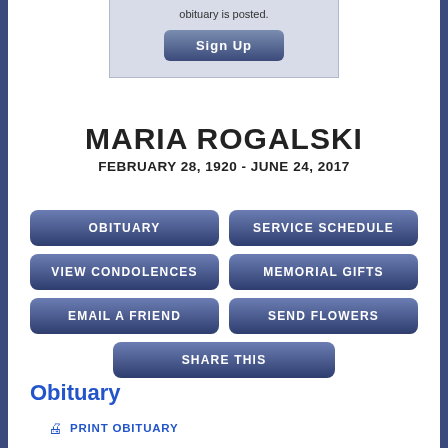[Figure (other): Sign Up box with text 'obituary is posted.' and a blue Sign Up button]
MARIA ROGALSKI
FEBRUARY 28, 1920 - JUNE 24, 2017
OBITUARY
SERVICE SCHEDULE
VIEW CONDOLENCES
MEMORIAL GIFTS
EMAIL A FRIEND
SEND FLOWERS
SHARE THIS
Obituary
PRINT OBITUARY